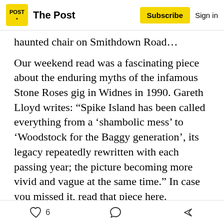The Post | Subscribe | Sign in
haunted chair on Smithdown Road…
Our weekend read was a fascinating piece about the enduring myths of the infamous Stone Roses gig in Widnes in 1990. Gareth Lloyd writes: "Spike Island has been called everything from a 'shambolic mess' to 'Woodstock for the Baggy generation', its legacy repeatedly rewritten with each passing year; the picture becoming more vivid and vague at the same time." In case you missed it, read that piece here.
[Figure (screenshot): Embedded post card from The Post (@liverpoolpost)]
6 likes, comment icon, share icon